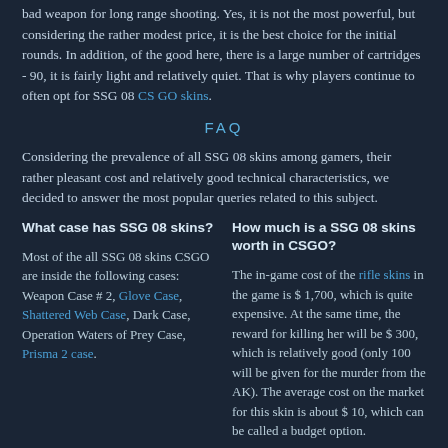bad weapon for long range shooting. Yes, it is not the most powerful, but considering the rather modest price, it is the best choice for the initial rounds. In addition, of the good here, there is a large number of cartridges - 90, it is fairly light and relatively quiet. That is why players continue to often opt for SSG 08 CS GO skins.
FAQ
Considering the prevalence of all SSG 08 skins among gamers, their rather pleasant cost and relatively good technical characteristics, we decided to answer the most popular queries related to this subject.
What case has SSG 08 skins?
How much is a SSG 08 skins worth in CSGO?
Most of the all SSG 08 skins CSGO are inside the following cases: Weapon Case # 2, Glove Case, Shattered Web Case, Dark Case, Operation Waters of Prey Case, Prisma 2 case.
The in-game cost of the rifle skins in the game is $ 1,700, which is quite expensive. At the same time, the reward for killing her will be $ 300, which is relatively good (only 100 will be given for the murder from the AK). The average cost on the market for this skin is about $ 10, which can be called a budget option.